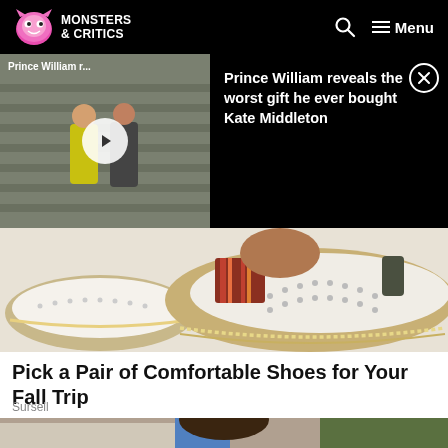Monsters & Critics — Menu
[Figure (screenshot): Video thumbnail showing Prince William and Kate Middleton on steps, with play button overlay. Label reads 'Prince William r...']
Prince William reveals the worst gift he ever bought Kate Middleton
[Figure (photo): Close-up photo of white slip-on shoes with brown espadrille trim, colorful striped elastic band, and perforated toe box on white background]
Pick a Pair of Comfortable Shoes for Your Fall Trip
Sursell
[Figure (photo): Partial photo of a woman with dark hair up, outdoors near trees and a building]